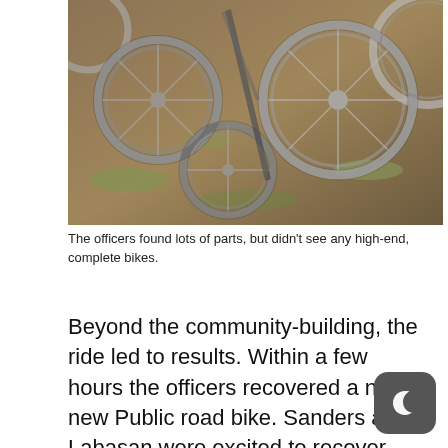[Figure (photo): A pile of bicycle wheels and parts scattered on dry grass/dirt ground, viewed from above. Multiple bike rims, tires, and frames are jumbled together.]
The officers found lots of parts, but didn't see any high-end, complete bikes.
Beyond the community-building, the ride led to results. Within a few hours the officers recovered a nice new Public road bike. Sanders and Labasan were excited to recover that bike, but wish they could have run serial numbers on the “hundreds of other bikes that looked suspicious. “We weren’t able to address many of the bikes we saw,” he